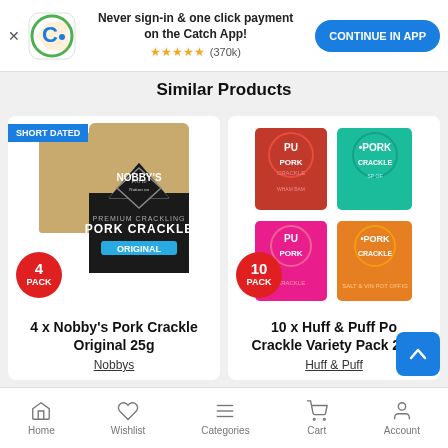[Figure (screenshot): App banner with Catch logo, 'Never sign-in & one click payment on the Catch App!' text, 5-star rating (370k reviews), and 'CONTINUE IN APP' button]
Similar Products
[Figure (photo): 4 x Nobby's Pork Crackle Original 25g product image with SHORT DATED badge and 4 PACK badge]
4 x Nobby's Pork Crackle Original 25g
Nobbys
[Figure (photo): 10 x Huff & Puff Pork Crackle Variety Pack 25g product image with 10 PACK badge]
10 x Huff & Puff Pork Crackle Variety Pack 25g
Huff & Puff
Home  Wishlist  Categories  Cart  Account